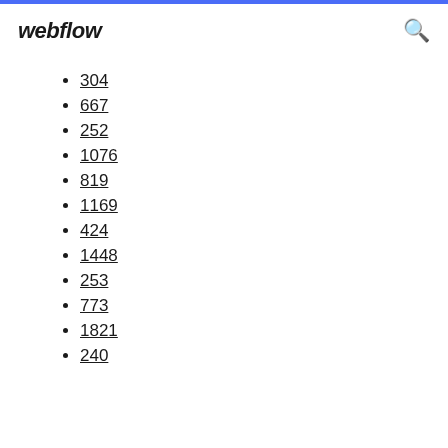webflow
304
667
252
1076
819
1169
424
1448
253
773
1821
240